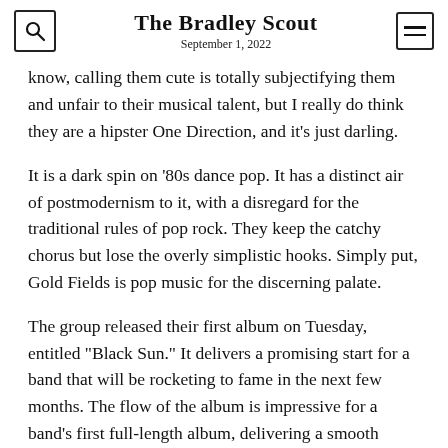The Bradley Scout
September 1, 2022
know, calling them cute is totally subjectifying them and unfair to their musical talent, but I really do think they are a hipster One Direction, and it’s just darling.
It is a dark spin on ‘ 80s dance pop. It has a distinct air of postmodernism to it, with a disregard for the traditional rules of pop rock. They keep the catchy chorus but lose the overly simplistic hooks. Simply put, Gold Fields is pop music for the discerning palate.
The group released their first album on Tuesday, entitled “Black Sun.” It delivers a promising start for a band that will be rocketing to fame in the next few months. The flow of the album is impressive for a band’s first full-length album, delivering a smooth transition from light dance tracks to the more introspective slow tracks. The slower tracks are what